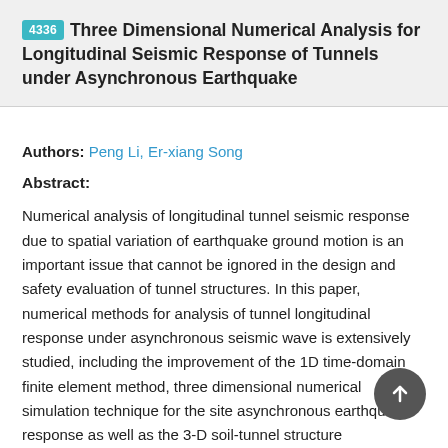4336 Three Dimensional Numerical Analysis for Longitudinal Seismic Response of Tunnels under Asynchronous Earthquake
Authors: Peng Li, Er-xiang Song
Abstract:
Numerical analysis of longitudinal tunnel seismic response due to spatial variation of earthquake ground motion is an important issue that cannot be ignored in the design and safety evaluation of tunnel structures. In this paper, numerical methods for analysis of tunnel longitudinal response under asynchronous seismic wave is extensively studied, including the improvement of the 1D time-domain finite element method, three dimensional numerical simulation technique for the site asynchronous earthquake response as well as the 3-D soil-tunnel structure